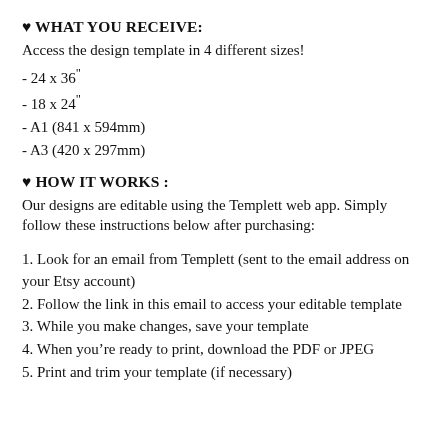♥ WHAT YOU RECEIVE:
Access the design template in 4 different sizes!
- 24 x 36"
- 18 x 24"
- A1 (841 x 594mm)
- A3 (420 x 297mm)
♥ HOW IT WORKS :
Our designs are editable using the Templett web app. Simply follow these instructions below after purchasing:
1. Look for an email from Templett (sent to the email address on your Etsy account)
2. Follow the link in this email to access your editable template
3. While you make changes, save your template
4. When you're ready to print, download the PDF or JPEG
5. Print and trim your template (if necessary)